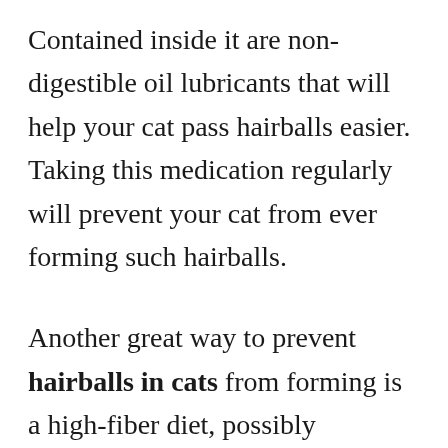Contained inside it are non-digestible oil lubricants that will help your cat pass hairballs easier. Taking this medication regularly will prevent your cat from ever forming such hairballs.
Another great way to prevent hairballs in cats from forming is a high-fiber diet, possibly including a fiber supplement. Home remedies, on the other hand, are not a good idea, because they could cause